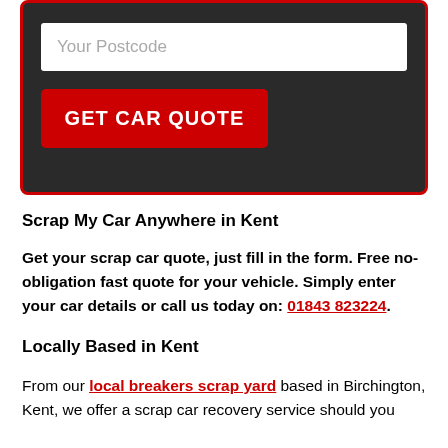[Figure (screenshot): Dark gray form panel with red border containing a postcode input field and a red GET CAR QUOTE button]
Scrap My Car Anywhere in Kent
Get your scrap car quote, just fill in the form. Free no-obligation fast quote for your vehicle. Simply enter your car details or call us today on: 01843 823224.
Locally Based in Kent
From our local breakers scrap yard based in Birchington, Kent, we offer a scrap car recovery service should you